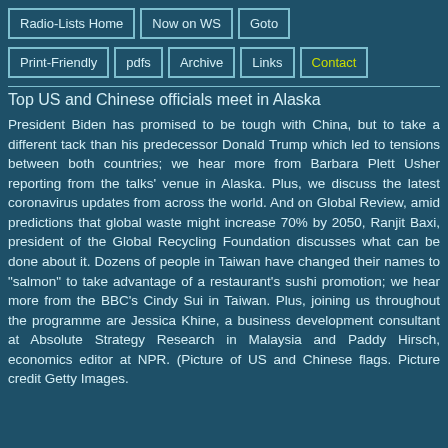Radio-Lists Home | Now on WS | Goto | Print-Friendly | pdfs | Archive | Links | Contact
Top US and Chinese officials meet in Alaska
President Biden has promised to be tough with China, but to take a different tack than his predecessor Donald Trump which led to tensions between both countries; we hear more from Barbara Plett Usher reporting from the talks' venue in Alaska. Plus, we discuss the latest coronavirus updates from across the world. And on Global Review, amid predictions that global waste might increase 70% by 2050, Ranjit Baxi, president of the Global Recycling Foundation discusses what can be done about it. Dozens of people in Taiwan have changed their names to "salmon" to take advantage of a restaurant's sushi promotion; we hear more from the BBC's Cindy Sui in Taiwan. Plus, joining us throughout the programme are Jessica Khine, a business development consultant at Absolute Strategy Research in Malaysia and Paddy Hirsch, economics editor at NPR. (Picture of US and Chinese flags. Picture credit Getty Images.